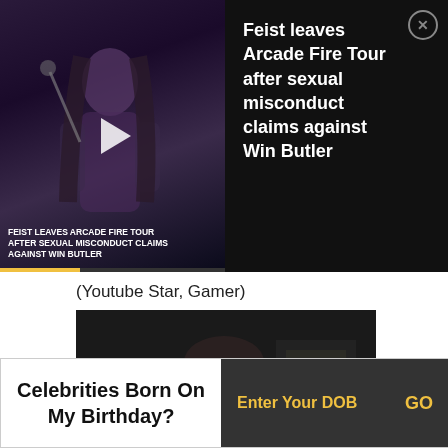[Figure (screenshot): Video advertisement banner with thumbnail of woman on dark stage with microphone, play button overlay, overlay text 'FEIST LEAVES ARCADE FIRE TOUR AFTER SEXUAL MISCONDUCT CLAIMS AGAINST WIN BUTLER', and headline text panel on right with close button]
(Youtube Star, Gamer)
[Figure (photo): Video thumbnail of a young man in a sleeveless grey shirt looking at camera against dark background]
Celebrities Born On My Birthday?
Enter Your DOB
GO